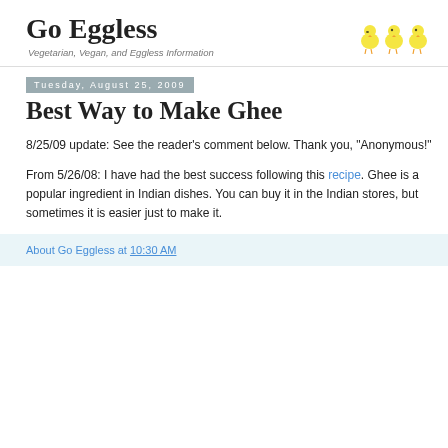Go Eggless — Vegetarian, Vegan, and Eggless Information
Tuesday, August 25, 2009
Best Way to Make Ghee
8/25/09 update: See the reader's comment below. Thank you, "Anonymous!"
From 5/26/08: I have had the best success following this recipe. Ghee is a popular ingredient in Indian dishes. You can buy it in the Indian stores, but sometimes it is easier just to make it.
About Go Eggless at 10:30 AM